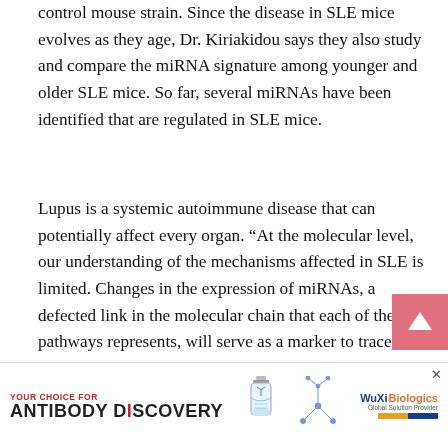control mouse strain. Since the disease in SLE mice evolves as they age, Dr. Kiriakidou says they also study and compare the miRNA signature among younger and older SLE mice. So far, several miRNAs have been identified that are regulated in SLE mice.
Lupus is a systemic autoimmune disease that can potentially affect every organ. “At the molecular level, our understanding of the mechanisms affected in SLE is limited. Changes in the expression of miRNAs, a defected link in the molecular chain that each of these pathways represents, will serve as a marker to trace these pathways, offering new insights into the path[ogenesis of lupus.”]
[Figure (other): Pink/red back-to-top arrow button in bottom right corner]
[Figure (other): Advertisement banner: YOUR CHOICE FOR ANTIBODY DISCOVERY with WuXi Biologics logo and vial illustration]